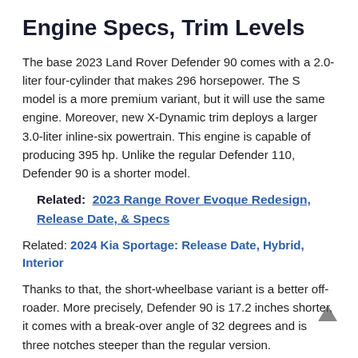Engine Specs, Trim Levels
The base 2023 Land Rover Defender 90 comes with a 2.0-liter four-cylinder that makes 296 horsepower. The S model is a more premium variant, but it will use the same engine. Moreover, new X-Dynamic trim deploys a larger 3.0-liter inline-six powertrain. This engine is capable of producing 395 hp. Unlike the regular Defender 110, Defender 90 is a shorter model.
Related: 2023 Range Rover Evoque Redesign, Release Date, & Specs
Related: 2024 Kia Sportage: Release Date, Hybrid, Interior
Thanks to that, the short-wheelbase variant is a better off-roader. More precisely, Defender 90 is 17.2 inches shorter, it comes with a break-over angle of 32 degrees and is three notches steeper than the regular version.